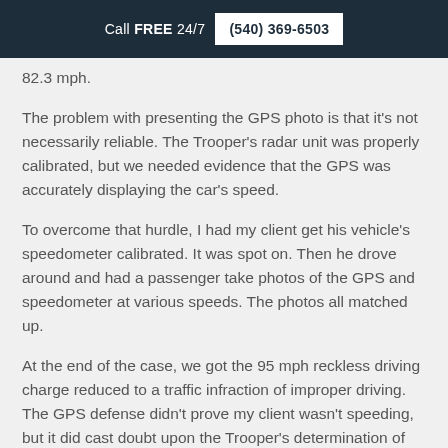Call FREE 24/7  (540) 369-6503
82.3 mph.
The problem with presenting the GPS photo is that it's not necessarily reliable. The Trooper's radar unit was properly calibrated, but we needed evidence that the GPS was accurately displaying the car's speed.
To overcome that hurdle, I had my client get his vehicle's speedometer calibrated. It was spot on. Then he drove around and had a passenger take photos of the GPS and speedometer at various speeds. The photos all matched up.
At the end of the case, we got the 95 mph reckless driving charge reduced to a traffic infraction of improper driving. The GPS defense didn't prove my client wasn't speeding, but it did cast doubt upon the Trooper's determination of his speed.